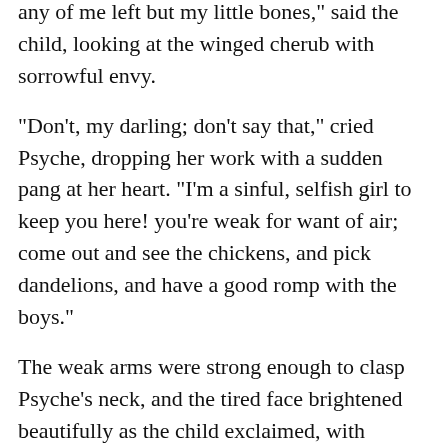any of me left but my little bones," said the child, looking at the winged cherub with sorrowful envy.
"Don't, my darling; don't say that," cried Psyche, dropping her work with a sudden pang at her heart. "I'm a sinful, selfish girl to keep you here! you're weak for want of air; come out and see the chickens, and pick dandelions, and have a good romp with the boys."
The weak arms were strong enough to clasp Psyche’s neck, and the tired face brightened beautifully as the child exclaimed, with grateful delight,—
"Oh, I’d like it very much! I wanted to go dreadfully;